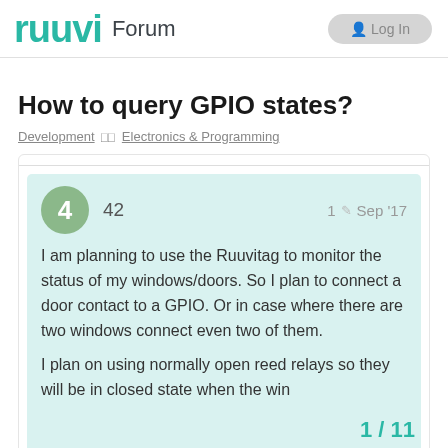ruuvi Forum
How to query GPIO states?
Development · Electronics & Programming
42  1  Sep '17

I am planning to use the Ruuvitag to monitor the status of my windows/doors. So I plan to connect a door contact to a GPIO. Or in case where there are two windows connect even two of them.

I plan on using normally open reed relays so they will be in closed state when the win
1 / 11